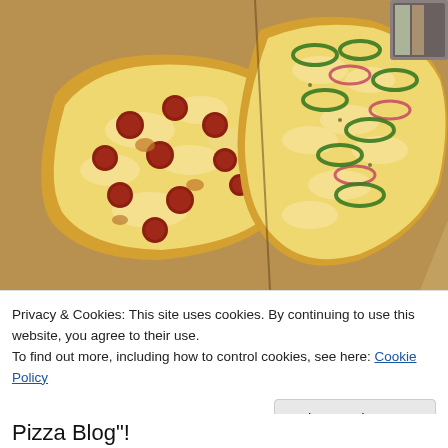[Figure (photo): Two French bread pizzas side by side on a wooden cutting board. Left one topped with melted cheese and pepperoni. Right one topped with melted cheese, green bell pepper rings, and red onion.]
Privacy & Cookies: This site uses cookies. By continuing to use this website, you agree to their use.
To find out more, including how to control cookies, see here: Cookie Policy
Pizza Blog"!